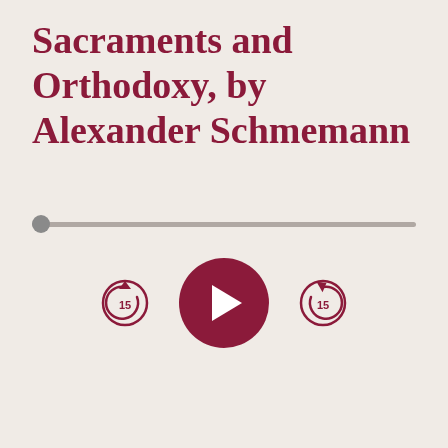Sacraments and Orthodoxy, by Alexander Schmemann
[Figure (screenshot): Audio player interface with progress bar (scrubber at start), skip-back-15 button, large play button, and skip-forward-15 button]
[Figure (other): Add to Cart button — dark crimson rectangle with 'ADD TO CART' in spaced white/light text]